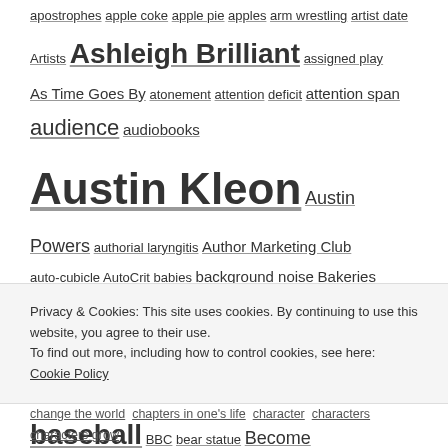apostrophes apple coke apple pie apples arm wrestling artist date Artists Ashleigh Brilliant assigned play As Time Goes By atonement attention deficit attention span audience audiobooks Austin Kleon Austin Powers authorial laryngitis Author Marketing Club auto-cubicle AutoCrit babies background noise Bakeries baking Baking instead of writing Barrie Davenport Barry Knister baseball BBC bear statue Become an Idea Machine beer batter bread bees behance.net be interesting Ben Angel best of... betterscribe.com biscotti biscotti dipped in chocolate biscuits blackout poems blame others for not writing bliss station blogging blueberries board game creation bobblehead dolls bobbypowers.net Boffo Bon Appetit book Bookalyzer bookbub.com book marketing tutorials book reviews
Privacy & Cookies: This site uses cookies. By continuing to use this website, you agree to their use. To find out more, including how to control cookies, see here: Cookie Policy
Close and accept
change the world chapters in one's life character characters characters grow